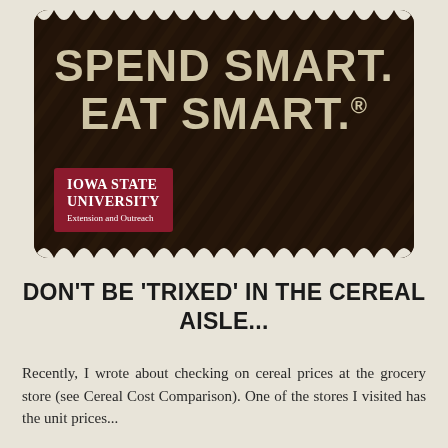[Figure (logo): Spend Smart. Eat Smart. branded banner with dark wood-grain background, scalloped edges, and Iowa State University Extension and Outreach red logo in bottom-left corner]
DON'T BE 'TRIXED' IN THE CEREAL AISLE...
Recently, I wrote about checking on cereal prices at the grocery store (see Cereal Cost Comparison). One of the stores I visited has the unit prices...